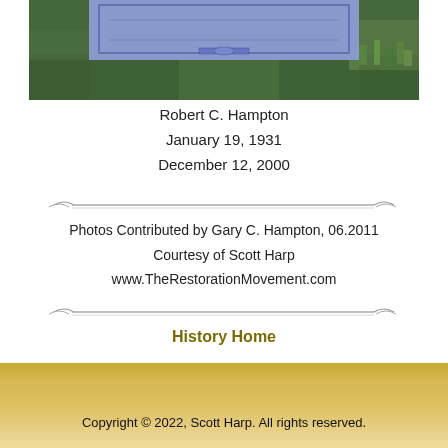[Figure (photo): Photograph of a blue granite gravestone with decorative border and book motif, surrounded by green grass.]
Robert C. Hampton
January 19, 1931
December 12, 2000
Photos Contributed by Gary C. Hampton, 06.2011
Courtesy of Scott Harp
www.TheRestorationMovement.com
History Home
History Index Page
Copyright © 2022, Scott Harp. All rights reserved.